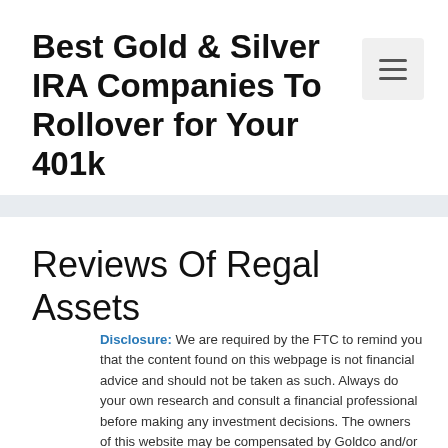Best Gold & Silver IRA Companies To Rollover for Your 401k
Reviews Of Regal Assets
Disclosure: We are required by the FTC to remind you that the content found on this webpage is not financial advice and should not be taken as such. Always do your own research and consult a financial professional before making any investment decisions. The owners of this website may be compensated by Goldco and/or any